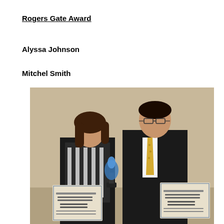Rogers Gate Award
Alyssa Johnson
Mitchel Smith
[Figure (photo): Two award recipients, a young woman in a striped top and a young man in a dark suit with a yellow tie, each holding certificates and a trophy/award statuette. The certificates read 'Rogers Gate Award' with their respective names.]